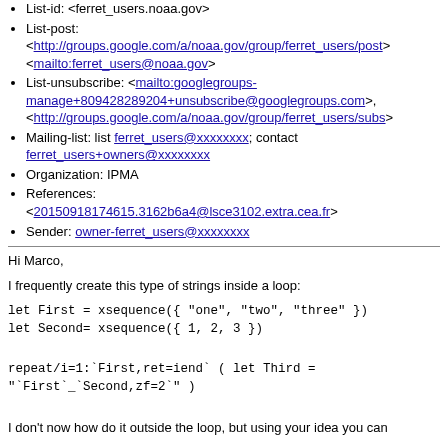List-id: <ferret_users.noaa.gov>
List-post: <http://groups.google.com/a/noaa.gov/group/ferret_users/post>, <mailto:ferret_users@noaa.gov>
List-unsubscribe: <mailto:googlegroups-manage+809428289204+unsubscribe@googlegroups.com>, <http://groups.google.com/a/noaa.gov/group/ferret_users/subs>
Mailing-list: list ferret_users@xxxxxxxx; contact ferret_users+owners@xxxxxxxx
Organization: IPMA
References: <20150918174615.3162b6a4@lsce3102.extra.cea.fr>
Sender: owner-ferret_users@xxxxxxxx
Hi Marco,
I frequently create this type of strings inside a loop:
I don't now how do it outside the loop, but using your idea you can